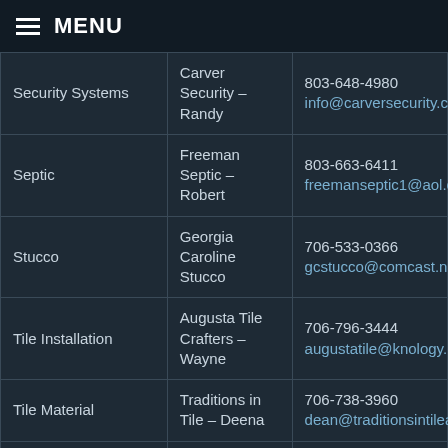≡ MENU
| Category | Vendor | Contact |
| --- | --- | --- |
| Security Systems | Carver Security – Randy | 803-648-4980
info@carversecurity.com |
| Septic | Freeman Septic – Robert | 803-663-6411
freemanseptic1@aol.com |
| Stucco | Georgia Caroline Stucco | 706-533-0366
gcstucco@comcast.net |
| Tile Installation | Augusta Tile Crafters – Wayne | 706-796-3444
augustatile@knology.net |
| Tile Material | Traditions in Tile – Deena | 706-738-3960
dean@traditionsintileaugus... |
| Well | Abe's Drilling & | 803-649-5861 |